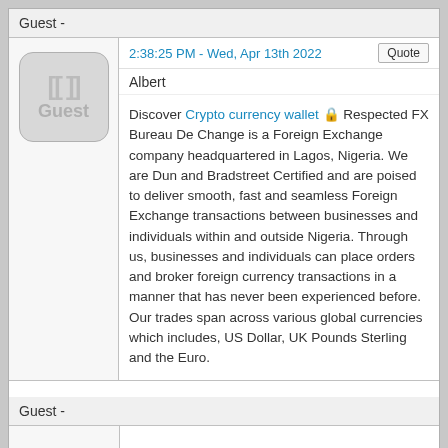Guest -
2:38:25 PM - Wed, Apr 13th 2022
Albert
Discover Crypto currency wallet 🔒 Respected FX Bureau De Change is a Foreign Exchange company headquartered in Lagos, Nigeria. We are Dun and Bradstreet Certified and are poised to deliver smooth, fast and seamless Foreign Exchange transactions between businesses and individuals within and outside Nigeria. Through us, businesses and individuals can place orders and broker foreign currency transactions in a manner that has never been experienced before. Our trades span across various global currencies which includes, US Dollar, UK Pounds Sterling and the Euro.
Guest -